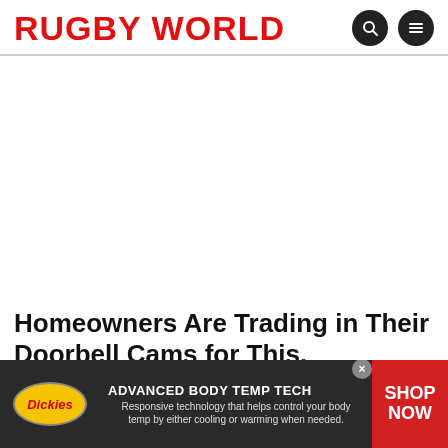RUGBY WORLD
[Figure (other): White advertisement placeholder area]
Homeowners Are Trading in Their Doorbell Cams for This.
[Figure (other): Dickies advertisement banner: ADVANCED BODY TEMP TECH — Responsive technology that helps control your body temp by either cooling or warming when needed. SHOP NOW]